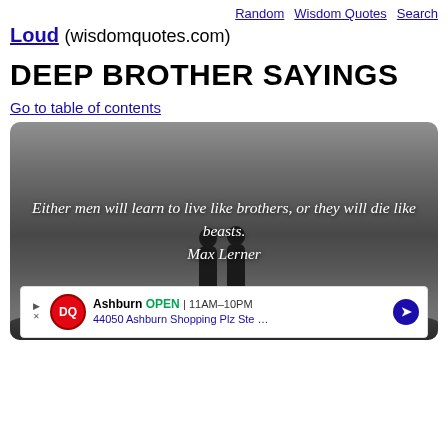Random  Wisdom Quotes  Search
Loud (wisdomquotes.com)
DEEP BROTHER SAYINGS
Go to table of contents
[Figure (photo): Black and white photo of two silhouetted figures standing on top of a car against an overcast sky, with handwritten-style white text overlay quoting: 'Either men will learn to live like brothers, or they will die like beasts. Max Lerner'. An advertisement banner for Dairy Queen (Ashburn, OPEN 11AM-10PM, 44050 Ashburn Shopping Plz Ste ...) overlays the bottom of the image.]